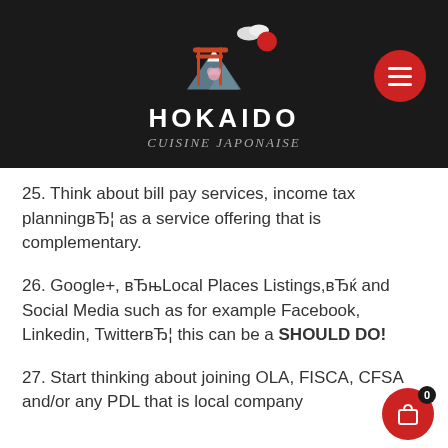[Figure (logo): Hokaido Cuisine Japonaise logo with torii gate, mountain, cherry blossom, and text on dark background]
25. Think about bill pay services, income tax planningвЂ¦ as a service offering that is complementary.
26. Google+, вЂњLocal Places Listings,вЂќ and Social Media such as for example Facebook, Linkedin, TwitterвЂ¦ this can be a SHOULD DO!
27. Start thinking about joining OLA, FISCA, CFSA and/or any PDL that is local company